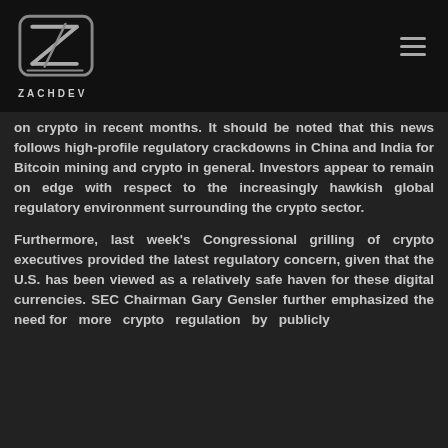[Figure (logo): ZACHDEV logo with stylized Z letterform inside a rounded rectangle border, with the text ZACHDEV below]
on crypto in recent months. It should be noted that this news follows high-profile regulatory crackdowns in China and India for Bitcoin mining and crypto in general. Investors appear to remain on edge with respect to the increasingly hawkish global regulatory environment surrounding the crypto sector.

Furthermore, last week's Congressional grilling of crypto executives provided the latest regulatory concern, given that the U.S. has been viewed as a relatively safe haven for these digital currencies. SEC Chairman Gary Gensler further emphasized the need for more crypto regulation by publicly